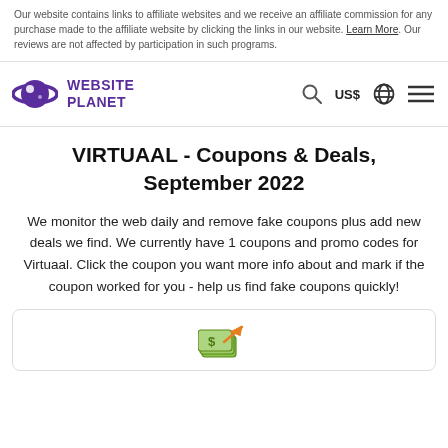Our website contains links to affiliate websites and we receive an affiliate commission for any purchase made to the affiliate website by clicking the links in our website. Learn More. Our reviews are not affected by participation in such programs.
WEBSITE PLANET — navigation bar with logo, search, US$, globe, and menu icons
VIRTUAAL - Coupons & Deals, September 2022
We monitor the web daily and remove fake coupons plus add new deals we find. We currently have 1 coupons and promo codes for Virtuaal. Click the coupon you want more info about and mark if the coupon worked for you - help us find fake coupons quickly!
[Figure (illustration): Coupon card with a money/deals icon (bills with an arrow)]